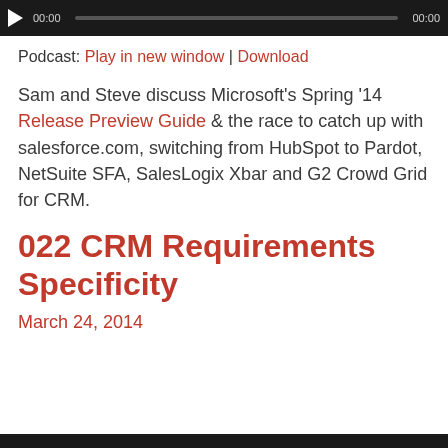[Figure (other): Audio player bar with play button, timestamp 00:00, progress bar, and end timestamp 00:00]
Podcast: Play in new window | Download
Sam and Steve discuss Microsoft's Spring '14 Release Preview Guide & the race to catch up with salesforce.com, switching from HubSpot to Pardot, NetSuite SFA, SalesLogix Xbar and G2 Crowd Grid for CRM.
022 CRM Requirements Specificity
March 24, 2014